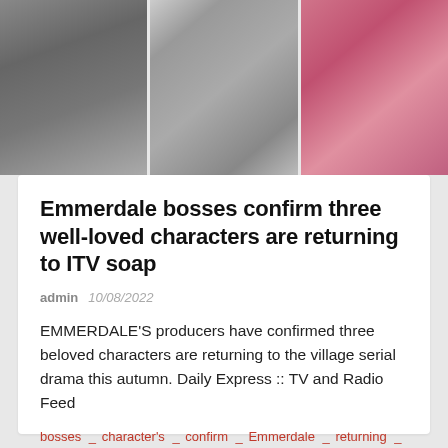[Figure (photo): Three-panel photo strip showing three people (partially visible torsos/faces): left panel shows person in grey zip-up hoodie, middle panel shows person in black and white floral dress with necklace, right panel shows person in pink top.]
Emmerdale bosses confirm three well-loved characters are returning to ITV soap
admin  10/08/2022
EMMERDALE'S producers have confirmed three beloved characters are returning to the village serial drama this autumn. Daily Express :: TV and Radio Feed
bosses _ character's _ confirm _ Emmerdale _ returning _ Soap _ three _ wellloved
_ Comment